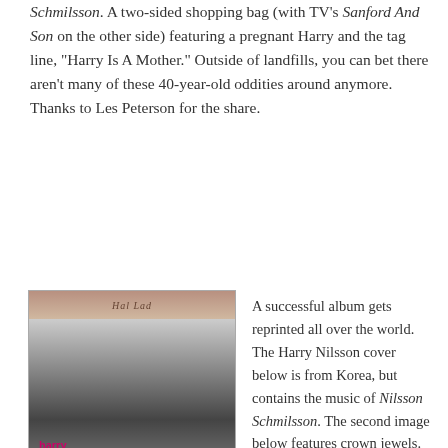Schmilsson. A two-sided shopping bag (with TV's Sanford And Son on the other side) featuring a pregnant Harry and the tag line, “Harry Is A Mother.” Outside of landfills, you can bet there aren’t many of these 40-year-old oddities around anymore. Thanks to Les Peterson for the share.
[Figure (photo): Shopping bag featuring 'Harry is a mother.' text with image of Harry Nilsson]
[Figure (photo): Shopping bag featuring 'Elect Sanford And Son '72' text with image of a man in a suit]
A successful album gets reprinted all over the world. The Harry Nilsson cover below is from Korea, but contains the music of Nilsson Schmilsson. The second image below features crown jewels. The third item, an 8-track version, features either a stock classical composer or a really bad drawing of Harry.